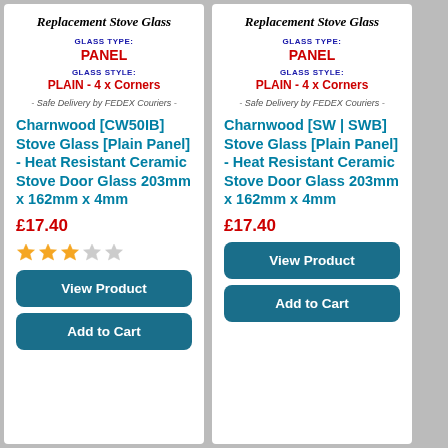Replacement Stove Glass
GLASS TYPE: PANEL
GLASS STYLE: PLAIN - 4 x Corners
- Safe Delivery by FEDEX Couriers -
Charnwood [CW50IB] Stove Glass [Plain Panel] - Heat Resistant Ceramic Stove Door Glass 203mm x 162mm x 4mm
£17.40
[Figure (other): 3 filled orange stars and 2 empty grey stars rating]
View Product
Add to Cart
Replacement Stove Glass
GLASS TYPE: PANEL
GLASS STYLE: PLAIN - 4 x Corners
- Safe Delivery by FEDEX Couriers -
Charnwood [SW | SWB] Stove Glass [Plain Panel] - Heat Resistant Ceramic Stove Door Glass 203mm x 162mm x 4mm
£17.40
View Product
Add to Cart